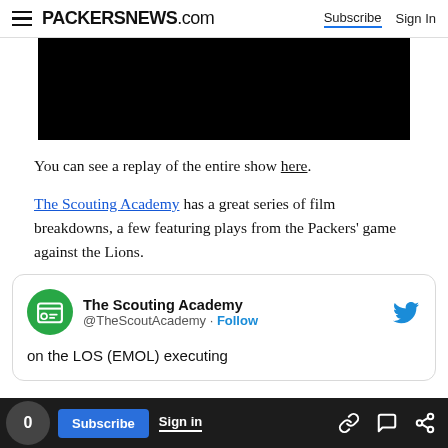PACKERSNEWS.com  Subscribe  Sign In
[Figure (screenshot): Black video player embed area]
You can see a replay of the entire show here.
The Scouting Academy has a great series of film breakdowns, a few featuring plays from the Packers' game against the Lions.
[Figure (screenshot): Embedded tweet card from The Scouting Academy (@TheScoutAcademy) with Follow button and Twitter bird icon, partial tweet text reading 'on the LOS (EMOL) executing']
0  Subscribe  Sign in